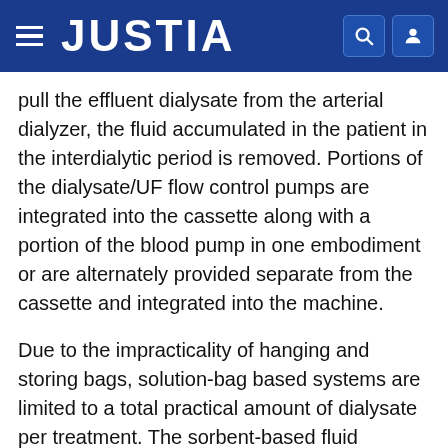JUSTIA
pull the effluent dialysate from the arterial dialyzer, the fluid accumulated in the patient in the interdialytic period is removed. Portions of the dialysate/UF flow control pumps are integrated into the cassette along with a portion of the blood pump in one embodiment or are alternately provided separate from the cassette and integrated into the machine.
Due to the impracticality of hanging and storing bags, solution-bag based systems are limited to a total practical amount of dialysate per treatment. The sorbent-based fluid regeneration system enables a therapy that uses more dialysate and thereby provides enhanced waste clearance. Providing an increased amount of dialysate beneficially enhances the clearance of waste products from the renal patient. For example, the sorbent cartridge could be used for a four hour